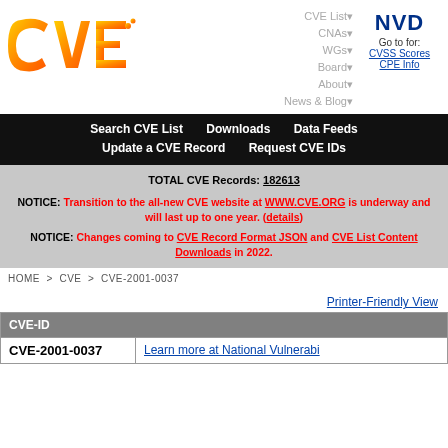[Figure (logo): CVE logo — orange gradient stylized letters CVE]
CVE List▾
CNAs▾
WGs▾
Board▾
About▾
News & Blog▾
[Figure (logo): NVD logo — bold dark blue letters NVD]
Go to for:
CVSS Scores
CPE Info
Search CVE List    Downloads    Data Feeds
Update a CVE Record    Request CVE IDs
TOTAL CVE Records: 182613

NOTICE: Transition to the all-new CVE website at WWW.CVE.ORG is underway and will last up to one year. (details)

NOTICE: Changes coming to CVE Record Format JSON and CVE List Content Downloads in 2022.
HOME > CVE > CVE-2001-0037
Printer-Friendly View
| CVE-ID |
| --- |
| CVE-2001-0037 | Learn more at National Vulnerabi... |